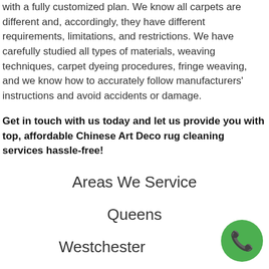with a fully customized plan. We know all carpets are different and, accordingly, they have different requirements, limitations, and restrictions. We have carefully studied all types of materials, weaving techniques, carpet dyeing procedures, fringe weaving, and we know how to accurately follow manufacturers' instructions and avoid accidents or damage.
Get in touch with us today and let us provide you with top, affordable Chinese Art Deco rug cleaning services hassle-free!
Areas We Service
Queens
Westchester
[Figure (other): Green circular phone/call button icon in bottom right corner]